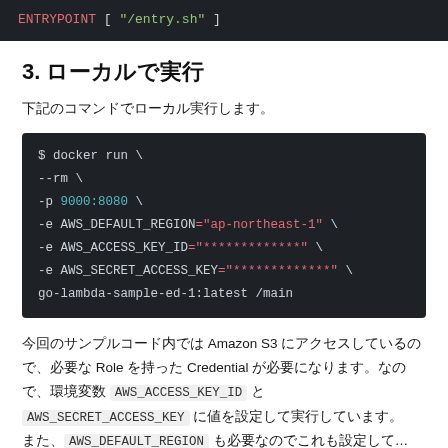[Figure (screenshot): Code block showing ENTRYPOINT [ "/entry.sh" ] in dark terminal style]
3. ローカルで実行
下記のコマンドでローカル実行します。
[Figure (screenshot): Code block showing docker run command with flags --rm, -p 9000:8080, -e AWS_DEFAULT_REGION="ap-northeast-1", -e AWS_ACCESS_KEY_ID="*************", -e AWS_SECRET_ACCESS_KEY="*************", go-lambda-sample-ed-1:latest /main]
今回のサンプルコード内では Amazon S3 にアクセスしているので、必要な Role を持った Credential が必要になります。なので、環境変数 AWS_ACCESS_KEY_ID と AWS_SECRET_ACCESS_KEY に値を設定して実行しています。また、AWS_DEFAULT_REGION も必要なのでこれも設定して…